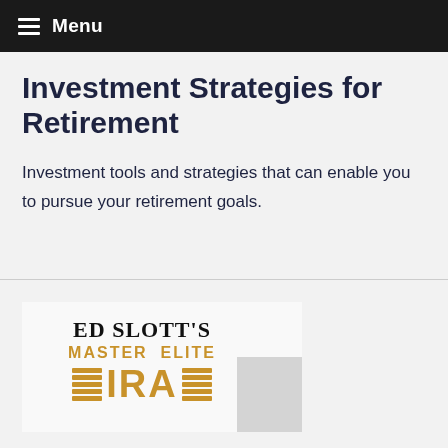Menu
Investment Strategies for Retirement
Investment tools and strategies that can enable you to pursue your retirement goals.
[Figure (logo): Ed Slott's Master Elite IRA logo with gold lettering and horizontal bars on either side of 'IRA']